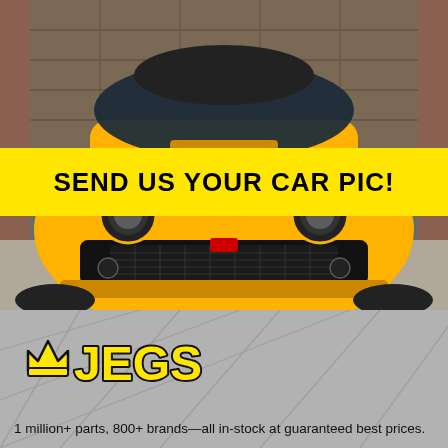[Figure (photo): Front view of a bright yellow Dodge Challenger muscle car parked in front of wooden garage doors]
SEND US YOUR CAR PIC!
[Figure (logo): JEGS logo in yellow with black outline and crown symbol]
1 million+ parts, 800+ brands—all in-stock at guaranteed best prices.